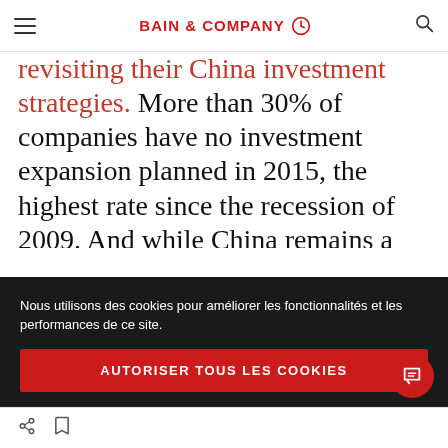BAIN & COMPANY
revisiting their China investment strategies. More than 30% of companies have no investment expansion planned in 2015, the highest rate since the recession of 2009. And while China remains a top-three priority globally for over 60% of members, more than 35% now view it as “one among many destinations” or
Nous utilisons des cookies pour améliorer les fonctionnalités et les performances de ce site.
AUTORISER TOUS LES COOKIES